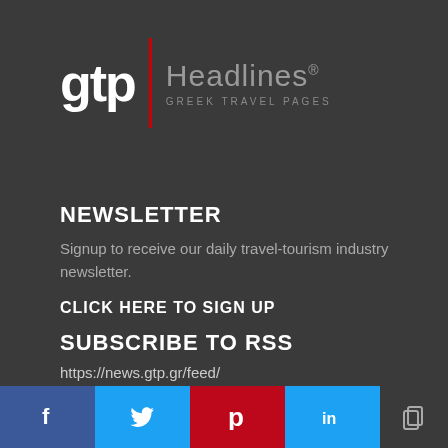[Figure (logo): GTP Headlines - Greek Travel Pages logo with red divider bar]
NEWSLETTER
Signup to receive our daily travel-tourism industry newsletter.
CLICK HERE TO SIGN UP
SUBSCRIBE TO RSS
https://news.gtp.gr/feed/
[Figure (infographic): Social media share bar with Facebook, Twitter, Pinterest, LinkedIn, and copy link buttons]